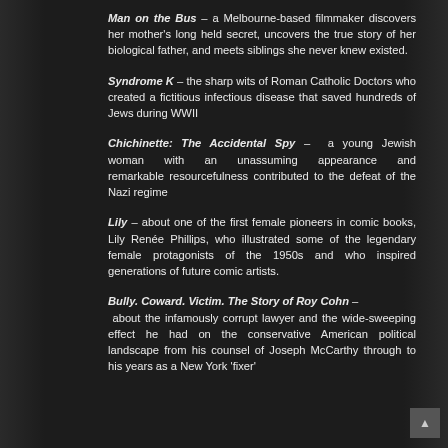Man on the Bus – a Melbourne-based filmmaker discovers her mother's long held secret, uncovers the true story of her biological father, and meets siblings she never knew existed.
Syndrome K – the sharp wits of Roman Catholic Doctors who created a fictitious infectious disease that saved hundreds of Jews during WWII
Chichinette: The Accidental Spy – a young Jewish woman with an unassuming appearance and remarkable resourcefulness contributed to the defeat of the Nazi regime
Lily – about one of the first female pioneers in comic books, Lily Renée Phillips, who illustrated some of the legendary female protagonists of the 1950s and who inspired generations of future comic artists.
Bully. Coward. Victim. The Story of Roy Cohn – about the infamously corrupt lawyer and the wide-sweeping effect he had on the conservative American political landscape from his counsel of Joseph McCarthy through to his years as a New York 'fixer'